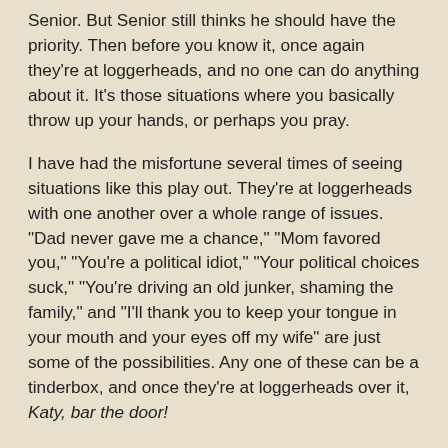Senior. But Senior still thinks he should have the priority. Then before you know it, once again they're at loggerheads, and no one can do anything about it. It's those situations where you basically throw up your hands, or perhaps you pray.
I have had the misfortune several times of seeing situations like this play out. They're at loggerheads with one another over a whole range of issues. "Dad never gave me a chance," "Mom favored you," "You're a political idiot," "Your political choices suck," "You're driving an old junker, shaming the family," and "I'll thank you to keep your tongue in your mouth and your eyes off my wife" are just some of the possibilities. Any one of these can be a tinderbox, and once they're at loggerheads over it, Katy, bar the door!
Now, other issues crop up. They may live at some distance from each other, and there's no day to day compelling reason to reconcile. They found themselves at loggerheads with each other when they were close, and now the sudden separation keeps them apart not just physically but mentally. The wound is allowed to fester. Then someone in the family